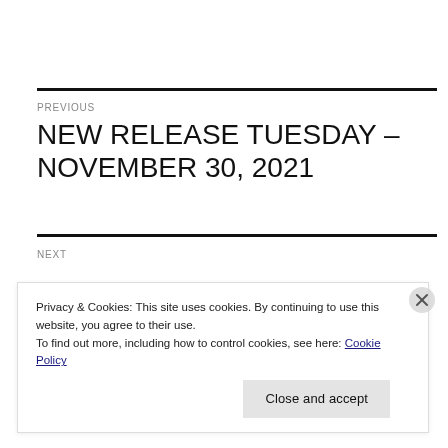PREVIOUS
NEW RELEASE TUESDAY – NOVEMBER 30, 2021
NEXT
Privacy & Cookies: This site uses cookies. By continuing to use this website, you agree to their use.
To find out more, including how to control cookies, see here: Cookie Policy
Close and accept